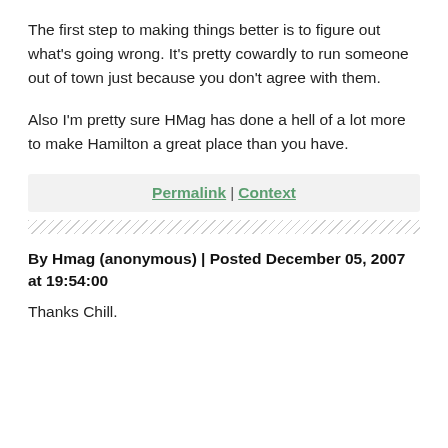The first step to making things better is to figure out what's going wrong. It's pretty cowardly to run someone out of town just because you don't agree with them.
Also I'm pretty sure HMag has done a hell of a lot more to make Hamilton a great place than you have.
Permalink | Context
By Hmag (anonymous) | Posted December 05, 2007 at 19:54:00
Thanks Chill.